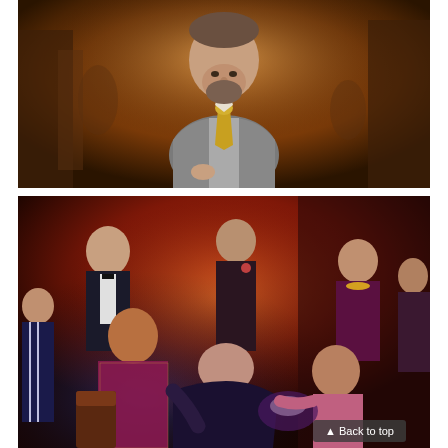[Figure (photo): A man in a grey suit with a gold tie stands on stage singing, lit with warm amber/orange lighting against a dark theatrical backdrop.]
[Figure (photo): A theatrical opera or musical stage scene with multiple actors in period costumes under dramatic red and blue lighting. Several figures crowd around a woman in a dark dress who appears to be fainting or collapsing, attended by a woman in white gloves. A man in a dark suit stands in the background center.]
▲ Back to top